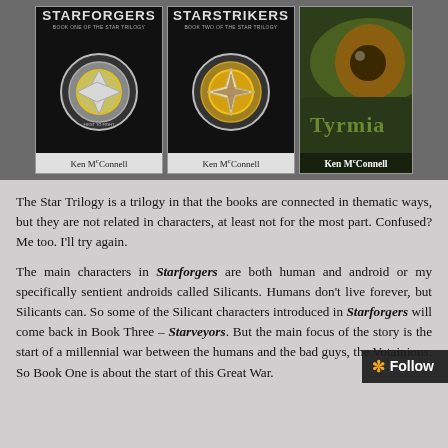[Figure (illustration): Three book covers displayed side by side: Starforgers (Book One of The Star Trilogy) by Ken McConnell with a silver coin emblem on black background, Starstrikers (Book Two of The Star Trilogy) by Ken McConnell with a gold coin emblem on black background, and Tyrmia by Ken McConnell showing a green alien eye on dark green background.]
The Star Trilogy is a trilogy in that the books are connected in thematic ways, but they are not related in characters, at least not for the most part. Confused? Me too. I'll try again.
The main characters in Starforgers are both human and android or my specifically sentient androids called Silicants. Humans don't live forever, but Silicants can. So some of the Silicant characters introduced in Starforgers will come back in Book Three – Starveyors. But the main focus of the story is the start of a millennial war between the humans and the bad guys, the Votainions. So Book One is about the start of this Great War.